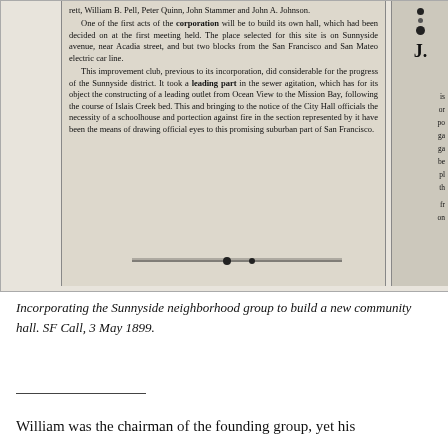[Figure (photo): Scanned newspaper clipping from SF Call, 3 May 1899, with text about incorporating the Sunnyside neighborhood group to build a new community hall.]
Incorporating the Sunnyside neighborhood group to build a new community hall. SF Call, 3 May 1899.
William was the chairman of the founding group, yet his